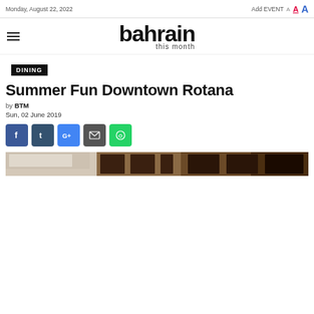Monday, August 22, 2022 | Add EVENT A A A
[Figure (logo): Bahrain This Month logo with hamburger menu icon]
DINING
Summer Fun Downtown Rotana
by BTM
Sun, 02 June 2019
[Figure (infographic): Social media sharing icons: Facebook, Tumblr, Google+, Email, WhatsApp]
[Figure (photo): Partial interior photo of a dining venue, showing wooden wall panels and framed pictures]